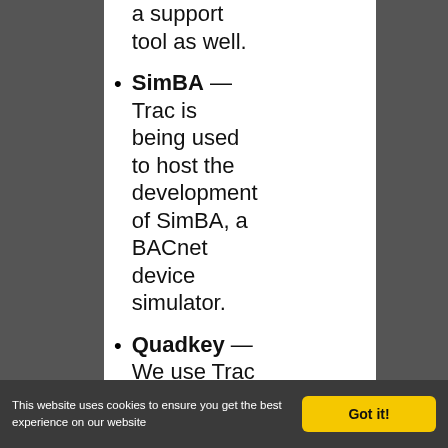a support tool as well.
SimBA — Trac is being used to host the development of SimBA, a BACnet device simulator.
Quadkey — We use Trac internally for development of our human resources software. We're quite fond of Trac
This website uses cookies to ensure you get the best experience on our website
Got it!